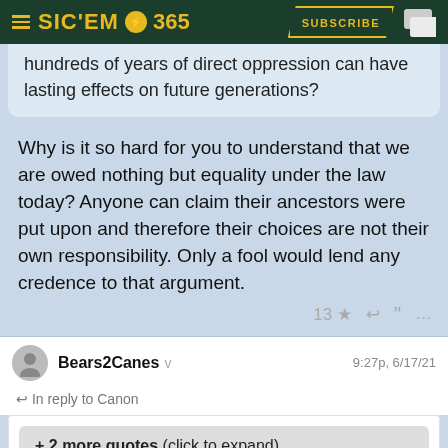SIC'EM 365 — SUBSCRIBE
hundreds of years of direct oppression can have lasting effects on future generations?
Why is it so hard for you to understand that we are owed nothing but equality under the law today? Anyone can claim their ancestors were put upon and therefore their choices are not their own responsibility. Only a fool would lend any credence to that argument.
13 ★ ↩ ❝ …
Bears2Canes v  9:27p, 6/17/21
↩ In reply to Canon
+ 2 more quotes (click to expand)
Bears2Canes said:
Do you really believe Fox News pundits who scare the pants off of vulnerable old white people by spreading this false narrative that critical race theory is invading every classroom